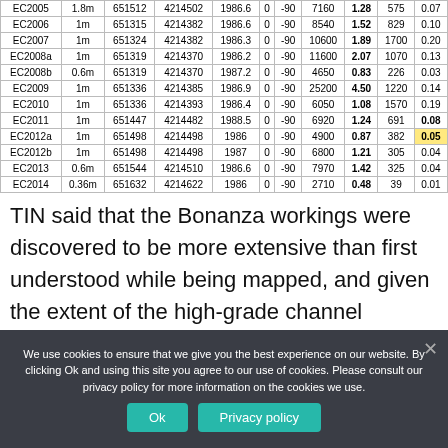| EC2005 | 1.8m | 651512 | 4214502 | 1986.6 | 0 | -90 | 7160 | 1.28 | 575 | 0.07 |
| EC2006 | 1m | 651315 | 4214382 | 1986.6 | 0 | -90 | 8540 | 1.52 | 829 | 0.10 |
| EC2007 | 1m | 651324 | 4214382 | 1986.3 | 0 | -90 | 10600 | 1.89 | 1700 | 0.20 |
| EC2008a | 1m | 651319 | 4214370 | 1986.2 | 0 | -90 | 11600 | 2.07 | 1070 | 0.13 |
| EC2008b | 0.6m | 651319 | 4214370 | 1987.2 | 0 | -90 | 4650 | 0.83 | 226 | 0.03 |
| EC2009 | 1m | 651336 | 4214385 | 1986.9 | 0 | -90 | 25200 | 4.50 | 1220 | 0.14 |
| EC2010 | 1m | 651336 | 4214393 | 1986.4 | 0 | -90 | 6050 | 1.08 | 1570 | 0.19 |
| EC2011 | 1m | 651447 | 4214482 | 1988.5 | 0 | -90 | 6920 | 1.24 | 691 | 0.08 |
| EC2012a | 1m | 651498 | 4214498 | 1986 | 0 | -90 | 4900 | 0.87 | 382 | 0.05 |
| EC2012b | 1m | 651498 | 4214498 | 1987 | 0 | -90 | 6800 | 1.21 | 305 | 0.04 |
| EC2013 | 0.6m | 651544 | 4214510 | 1986.6 | 0 | -90 | 7970 | 1.42 | 325 | 0.04 |
| EC2014 | 0.36m | 651632 | 4214622 | 1986 | 0 | -90 | 2710 | 0.48 | 39 | 0.01 |
TIN said that the Bonanza workings were discovered to be more extensive than first understood while being mapped, and given the extent of the high-grade channel sample mineralisation identified at both locations, TNT is very encouraged by these results and the assays received to
We use cookies to ensure that we give you the best experience on our website. By clicking Ok and using this site you agree to our use of cookies. Please consult our privacy policy for more information on the cookies we use.